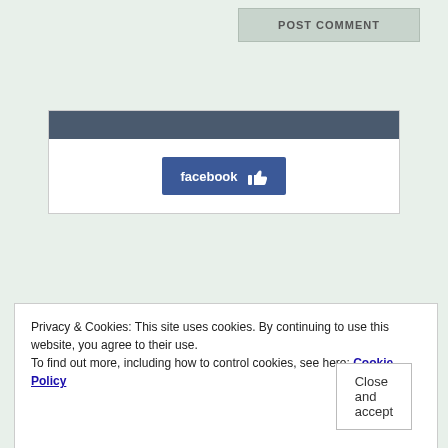[Figure (other): POST COMMENT button, light gray with bold uppercase text]
[Figure (other): Facebook Like badge widget with blue background and thumbs up icon]
META
Log in
Privacy & Cookies: This site uses cookies. By continuing to use this website, you agree to their use.
To find out more, including how to control cookies, see here: Cookie Policy
[Figure (other): Close and accept button]